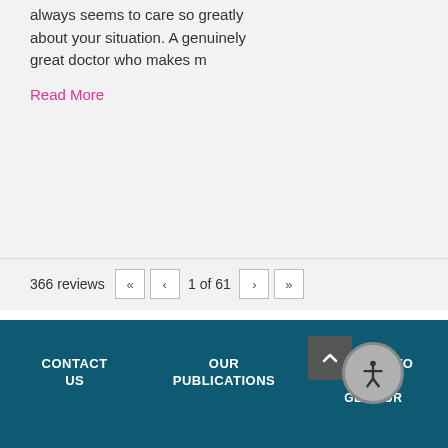always seems to care so greatly about your situation. A genuinely great doctor who makes m
Read More
366 reviews « ‹ 1 of 61 › »
CONTACT US   OUR PUBLICATIONS   STAY UP TO DATE GET OUR